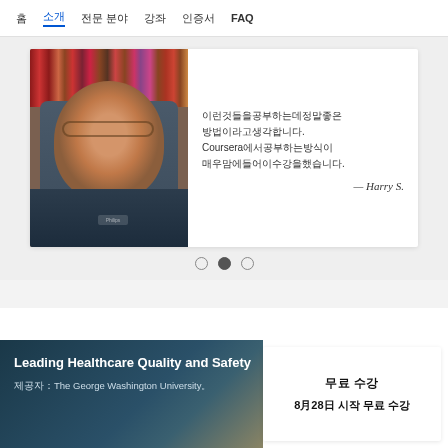홈  소개  전문 분야  강좌  인증서  FAQ
[Figure (photo): Testimonial card with photo of Harry S., a middle-aged man with glasses sitting in front of a bookshelf, alongside a testimonial quote in Japanese/Korean characters mentioning Coursera, attributed to — Harry S.]
○ ● ○  (carousel navigation dots)
Leading Healthcare Quality and Safety
제공자：The George Washington University。
무료 수강
8월28일 시작 무료 수강